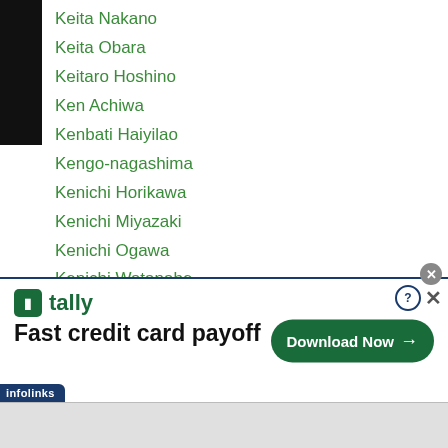Keita Nakano
Keita Obara
Keitaro Hoshino
Ken Achiwa
Kenbati Haiyilao
Kengo-nagashima
Kenichi Horikawa
Kenichi Miyazaki
Kenichi Ogawa
Kenichi Watanabe
Kenji Fujita
Kenji Kihisa
Kenji Ono
Kenji Yoshino
Ken Jordan
Ken...ibuchi
[Figure (screenshot): Advertisement banner for Tally app — Fast credit card payoff. Download Now button. Infolinks bar at bottom-left.]